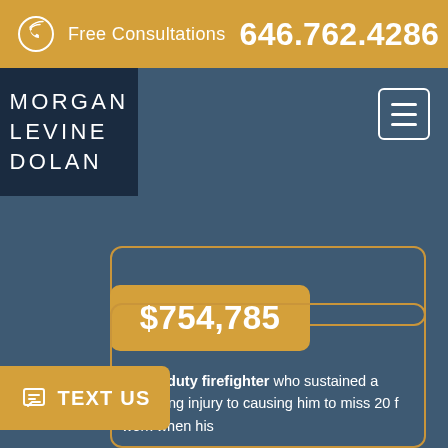Free Consultations 646.762.4286
[Figure (logo): Morgan Levine Dolan law firm logo on dark navy background]
market.
$754,785
An off-duty firefighter who sustained a degloving injury to causing him to miss 20 f work when his motorcycle was hit by a truck